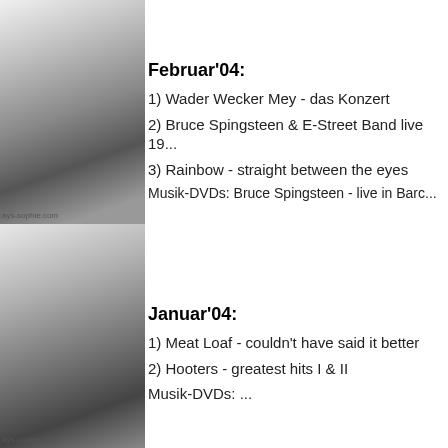[Figure (photo): Black and white photo of a person wearing white, cropped to show head/shoulders, top half]
Februar'04:
1) Wader Wecker Mey - das Konzert
2) Bruce Spingsteen & E-Street Band live 19...
3) Rainbow - straight between the eyes
Musik-DVDs: Bruce Spingsteen - live in Barc...
[Figure (photo): Black and white photo of a person wearing white, cropped to show head/shoulders, bottom half]
Januar'04:
1) Meat Loaf - couldn't have said it better
2) Hooters - greatest hits I & II
Musik-DVDs: ...